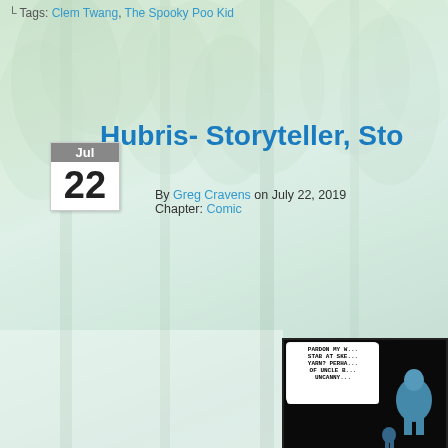L Tags: Clem Twang, The Spooky Poo Kid
Hubris- Storyteller, Sto
By Greg Cravens on July 22, 2019
Chapter: Comic
[Figure (illustration): Forest/trees background with light green tones]
[Figure (illustration): Comic panel 1: Character speaking - PARDON MY W... STAB AT SKE... YARN? PERHA... OF UNCLE B... UNCANNY...]
[Figure (illustration): Comic panel 2: Yellow lion-like character - AHEM, WELL, I... NOT AROUSE T... IN A CAMPR... A SPOOK S...]
[Figure (illustration): Comic panel 3: Character speaking - OR BIG RON'S... THEY'RE ALL D... SPIRITS AND... UNRUL...]